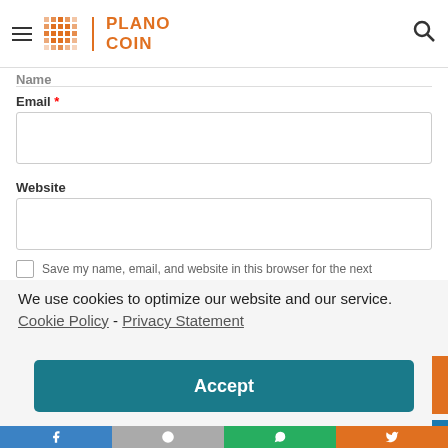Plano Coin
Name
Email *
Website
Save my name, email, and website in this browser for the next
We use cookies to optimize our website and our service.  Cookie Policy - Privacy Statement
Accept